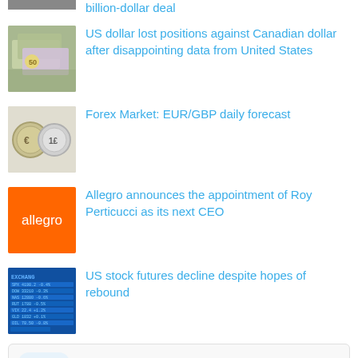billion-dollar deal
US dollar lost positions against Canadian dollar after disappointing data from United States
Forex Market: EUR/GBP daily forecast
Allegro announces the appointment of Roy Perticucci as its next CEO
US stock futures decline despite hopes of rebound
Forex  Stocks  Commodities  Crypto